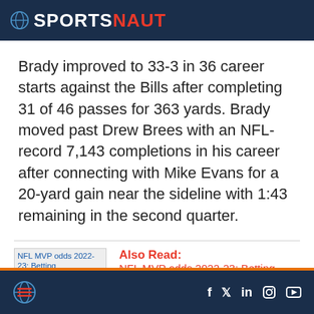SPORTSNAUT
Brady improved to 33-3 in 36 career starts against the Bills after completing 31 of 46 passes for 363 yards. Brady moved past Drew Brees with an NFL-record 7,143 completions in his career after connecting with Mike Evans for a 20-yard gain near the sideline with 1:43 remaining in the second quarter.
Also Read: NFL MVP odds 2022-23: Betting
SPORTSNAUT social icons